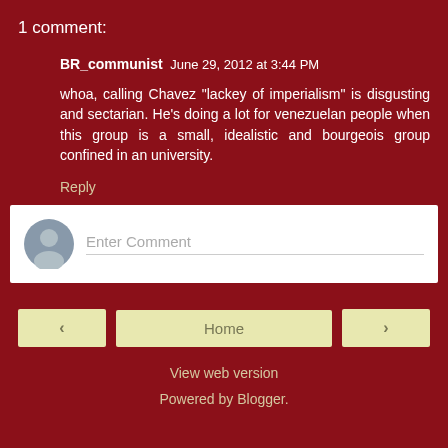1 comment:
BR_communist June 29, 2012 at 3:44 PM
whoa, calling Chavez "lackey of imperialism" is disgusting and sectarian. He's doing a lot for venezuelan people when this group is a small, idealistic and bourgeois group confined in an university.
Reply
[Figure (other): Comment input form with avatar placeholder and Enter Comment text field]
< Home >
View web version
Powered by Blogger.